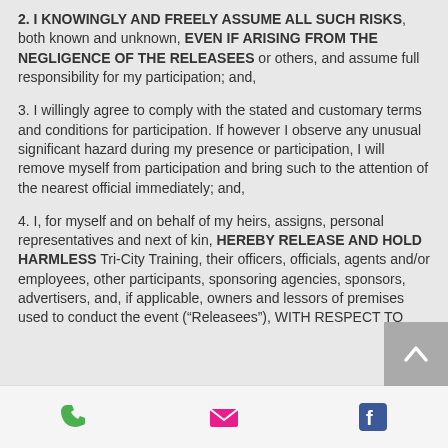2. I KNOWINGLY AND FREELY ASSUME ALL SUCH RISKS, both known and unknown, EVEN IF ARISING FROM THE NEGLIGENCE OF THE RELEASEES or others, and assume full responsibility for my participation; and,
3. I willingly agree to comply with the stated and customary terms and conditions for participation. If however I observe any unusual significant hazard during my presence or participation, I will remove myself from participation and bring such to the attention of the nearest official immediately; and,
4. I, for myself and on behalf of my heirs, assigns, personal representatives and next of kin, HEREBY RELEASE AND HOLD HARMLESS Tri-City Training, their officers, officials, agents and/or employees, other participants, sponsoring agencies, sponsors, advertisers, and, if applicable, owners and lessors of premises used to conduct the event (“Releasees”), WITH RESPECT TO